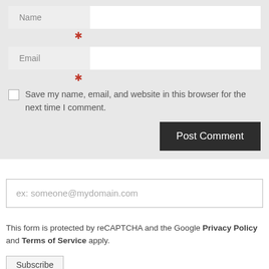[Figure (screenshot): Web comment form with Name field, Email field, required asterisks, save checkbox, and Post Comment button]
ex: someone@mydomain.com
This form is protected by reCAPTCHA and the Google Privacy Policy and Terms of Service apply.
Subscribe